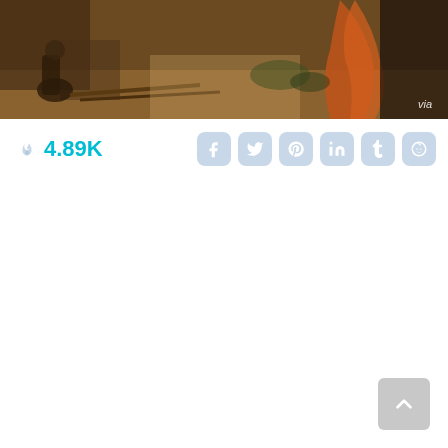[Figure (illustration): A Renaissance-style painting showing figures in an outdoor landscape scene. The image has warm earthy tones with browns, tans, and an orange/red draped figure on the right. A 'via' watermark is visible in the bottom-right corner of the image.]
4.89K
[Figure (infographic): Social share buttons: Facebook (f), Twitter (bird), Pinterest (P), LinkedIn (in), Tumblr (t), Reddit (alien) — all in light blue-gray rounded square buttons]